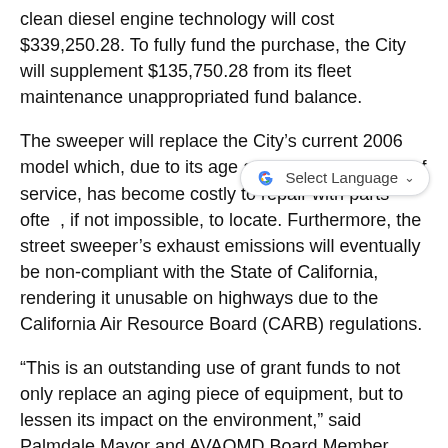clean diesel engine technology will cost $339,250.28. To fully fund the purchase, the City will supplement $135,750.28 from its fleet maintenance unappropriated fund balance.
The sweeper will replace the City's current 2006 model which, due to its age and excessive years of service, has become costly to repair with parts often, if not impossible, to locate. Furthermore, the street sweeper's exhaust emissions will eventually be non-compliant with the State of California, rendering it unusable on highways due to the California Air Resource Board (CARB) regulations.
“This is an outstanding use of grant funds to not only replace an aging piece of equipment, but to lessen its impact on the environment,” said Palmdale Mayor and AVAQMD Board Member Steve Hofbauer. “Staff did a great job of identifying the need and pursing the funding. When these state funds become available, it’s our goal to channel them back into our community. It’s helped us achieve the best air quality levels in years. ”